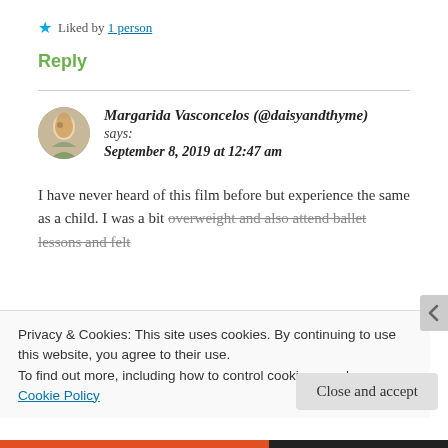★ Liked by 1 person
Reply
Margarida Vasconcelos (@daisyandthyme) says:
September 8, 2019 at 12:47 am
I have never heard of this film before but experience the same as a child. I was a bit overweight and also attend ballet lessons and felt
Privacy & Cookies: This site uses cookies. By continuing to use this website, you agree to their use.
To find out more, including how to control cookies, see here: Cookie Policy
Close and accept